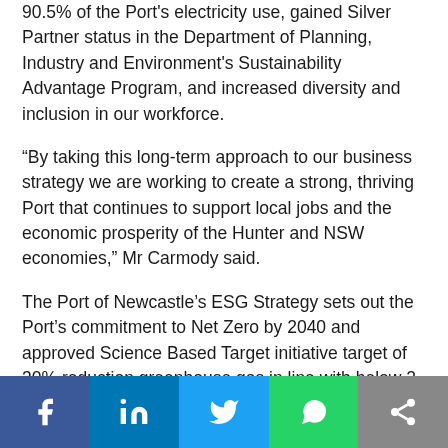90.5% of the Port's electricity use, gained Silver Partner status in the Department of Planning, Industry and Environment's Sustainability Advantage Program, and increased diversity and inclusion in our workforce.
“By taking this long-term approach to our business strategy we are working to create a strong, thriving Port that continues to support local jobs and the economic prosperity of the Hunter and NSW economies,” Mr Carmody said.
The Port of Newcastle’s ESG Strategy sets out the Port’s commitment to Net Zero by 2040 and approved Science Based Target initiative target of 30% reduction greenhouse gas in line with below 2-degree trajectories. The Port is also committed to undertaking GRESB benchmarking annually.
The products and services herein described in this press release are not
Social share bar: Facebook, LinkedIn, Twitter, WhatsApp, More